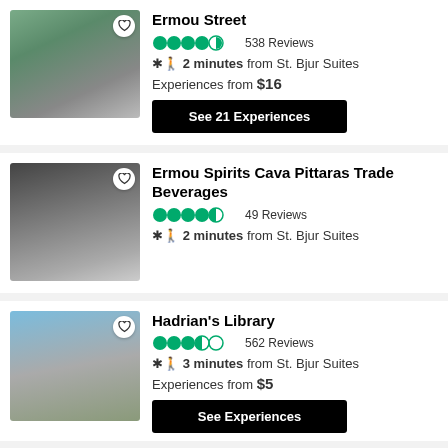[Figure (photo): Street view of Ermou Street with buildings and trees]
Ermou Street
538 Reviews
2 minutes from St. Bjur Suites
Experiences from $16
See 21 Experiences
[Figure (photo): Interior of Ermou Spirits Cava Pittaras store with shelves of bottles]
Ermou Spirits Cava Pittaras Trade Beverages
49 Reviews
2 minutes from St. Bjur Suites
[Figure (photo): Ruins of Hadrian's Library with ancient columns and archaeological site]
Hadrian's Library
562 Reviews
3 minutes from St. Bjur Suites
Experiences from $5